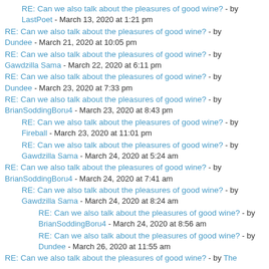RE: Can we also talk about the pleasures of good wine? - by LastPoet - March 13, 2020 at 1:21 pm
RE: Can we also talk about the pleasures of good wine? - by Dundee - March 21, 2020 at 10:05 pm
RE: Can we also talk about the pleasures of good wine? - by Gawdzilla Sama - March 22, 2020 at 6:11 pm
RE: Can we also talk about the pleasures of good wine? - by Dundee - March 23, 2020 at 7:33 pm
RE: Can we also talk about the pleasures of good wine? - by BrianSoddingBoru4 - March 23, 2020 at 8:43 pm
RE: Can we also talk about the pleasures of good wine? - by Fireball - March 23, 2020 at 11:01 pm
RE: Can we also talk about the pleasures of good wine? - by Gawdzilla Sama - March 24, 2020 at 5:24 am
RE: Can we also talk about the pleasures of good wine? - by BrianSoddingBoru4 - March 24, 2020 at 7:41 am
RE: Can we also talk about the pleasures of good wine? - by Gawdzilla Sama - March 24, 2020 at 8:24 am
RE: Can we also talk about the pleasures of good wine? - by BrianSoddingBoru4 - March 24, 2020 at 8:56 am
RE: Can we also talk about the pleasures of good wine? - by Dundee - March 26, 2020 at 11:55 am
RE: Can we also talk about the pleasures of good wine? - by The